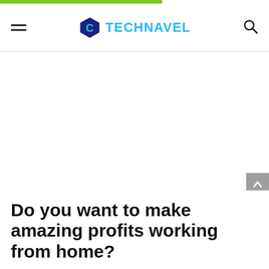TECHNAVEL
Do you want to make amazing profits working from home?